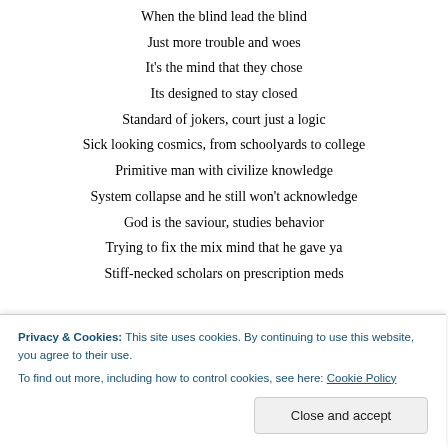When the blind lead the blind
Just more trouble and woes
It's the mind that they chose
Its designed to stay closed
Standard of jokers, court just a logic
Sick looking cosmics, from schoolyards to college
Primitive man with civilize knowledge
System collapse and he still won't acknowledge
God is the saviour, studies behavior
Trying to fix the mix mind that he gave ya
Stiff-necked scholars on prescription meds
Imperially led, by the gods in their heads
Privacy & Cookies: This site uses cookies. By continuing to use this website, you agree to their use.
To find out more, including how to control cookies, see here: Cookie Policy